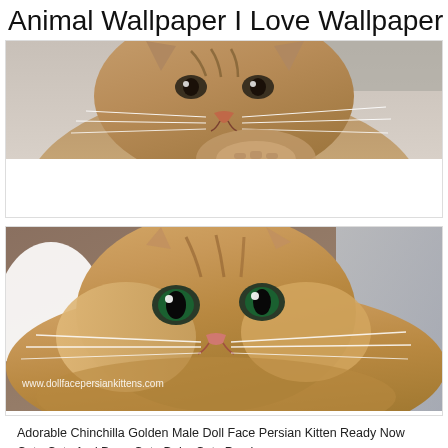Animal Wallpaper I Love Wallpaper
[Figure (photo): Close-up photo of a fluffy brown/ginger tabby cat looking slightly downward, with prominent whiskers, against a light gray background.]
[Figure (photo): Close-up photo of a fluffy golden/ginger Chinchilla Persian kitten with large dark eyes lying down, with watermark text 'www.dollfacepersiankittens.com' at bottom left.]
Adorable Chinchilla Golden Male Doll Face Persian Kitten Ready Now Cute Cats And Dogs Cute Baby Cats Persian